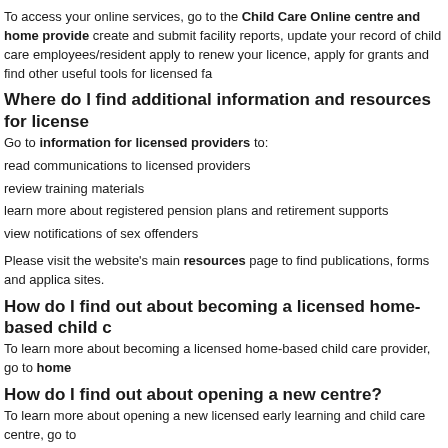To access your online services, go to the Child Care Online centre and home provide create and submit facility reports, update your record of child care employees/resident apply to renew your licence, apply for grants and find other useful tools for licensed fa
Where do I find additional information and resources for license
Go to information for licensed providers to:
read communications to licensed providers
review training materials
learn more about registered pension plans and retirement supports
view notifications of sex offenders
Please visit the website's main resources page to find publications, forms and applica sites.
How do I find out about becoming a licensed home-based child c
To learn more about becoming a licensed home-based child care provider, go to home
How do I find out about opening a new centre?
To learn more about opening a new licensed early learning and child care centre, go to
Child Care Subsidy
Where can I find a list of reporting periods?